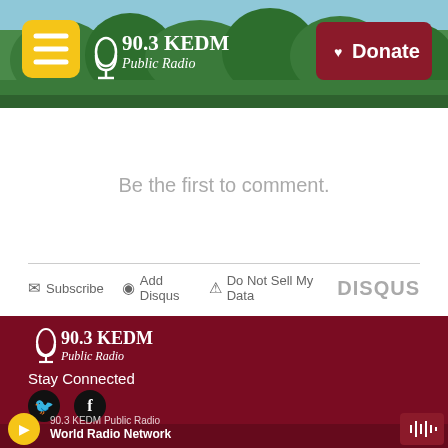[Figure (screenshot): 90.3 KEDM Public Radio website header with forest/trees background, yellow hamburger menu button on left, station logo in center-left, and dark red Donate button with heart icon on right]
Be the first to comment.
Subscribe  Add Disqus  Do Not Sell My Data  DISQUS
[Figure (logo): 90.3 KEDM Public Radio logo in white on dark red background]
Stay Connected
[Figure (screenshot): Twitter and Facebook social media icon circles]
90.3 KEDM Public Radio
World Radio Network